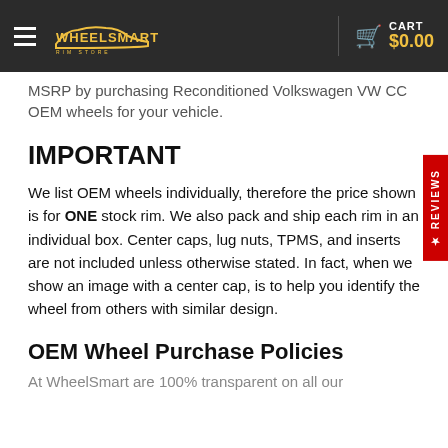WheelSmart Rim Store — CART $0.00
MSRP by purchasing Reconditioned Volkswagen VW CC OEM wheels for your vehicle.
IMPORTANT
We list OEM wheels individually, therefore the price shown is for ONE stock rim. We also pack and ship each rim in an individual box. Center caps, lug nuts, TPMS, and inserts are not included unless otherwise stated. In fact, when we show an image with a center cap, is to help you identify the wheel from others with similar design.
OEM Wheel Purchase Policies
At WheelSmart are 100% transparent on all our